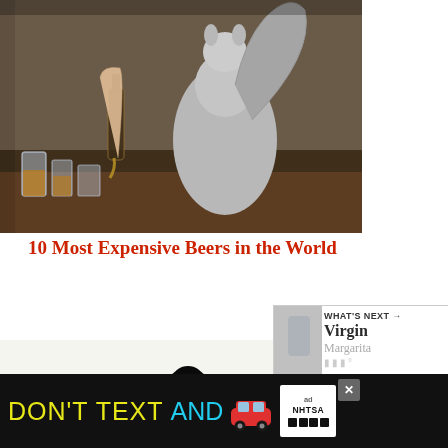[Figure (photo): A squirrel standing on hind legs at a bar with glasses and whiskey bottles being poured in front of it]
10 Most Expensive Beers in the World
[Figure (photo): Three luxury tequila bottles including a black sculptural bottle and two ornate decanters]
10 Most Expensive Tequilas In The World
[Figure (photo): Person holding a clear bottle of liquor]
[Figure (infographic): Social sharing widget with heart/like button showing count of 1 and share icon]
[Figure (infographic): What's Next widget showing Virgin Margarita next article with progress bar]
[Figure (photo): Advertisement banner: DON'T TEXT AND DRIVE with car emoji and NHTSA ad logo]